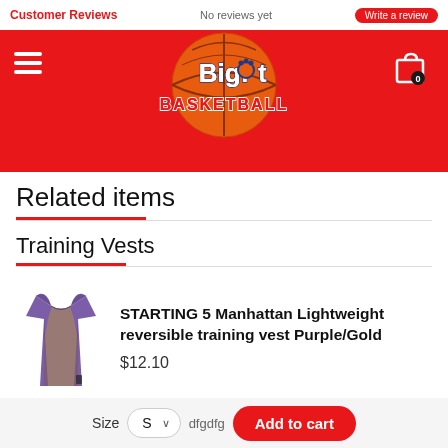Customer Reviews | No reviews yet | Write a review
[Figure (logo): Bigfoot Basketball logo — basketball with blue and red text on red header background]
Related items
Training Vests
[Figure (photo): Purple and gold reversible training vest product image]
STARTING 5 Manhattan Lightweight reversible training vest Purple/Gold
$12.10
Size  S  dfgdfg  Add to cart